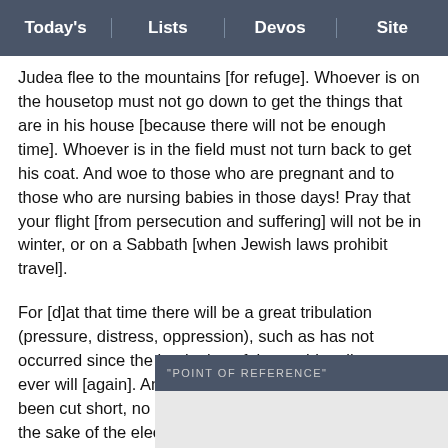Today's | Lists | Devos | Site
Judea flee to the mountains [for refuge]. Whoever is on the housetop must not go down to get the things that are in his house [because there will not be enough time]. Whoever is in the field must not turn back to get his coat. And woe to those who are pregnant and to those who are nursing babies in those days! Pray that your flight [from persecution and suffering] will not be in winter, or on a Sabbath [when Jewish laws prohibit travel].
For [d]at that time there will be a great tribulation (pressure, distress, oppression), such as has not occurred since the beginning of the world until now, nor ever will [again]. And if those days [of tribulation] had not been cut short, no human life would be saved; but for the sake of the elect (God's chosen ones) those days will be shortened.
Then if anyone says to you [during the gr... 'Look... For fa...
"POINT OF REFERENCE"
The Fo